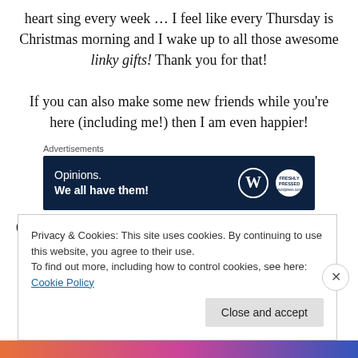heart sing every week … I feel like every Thursday is Christmas morning and I wake up to all those awesome linky gifts!  Thank you for that!
If you can also make some new friends while you're here (including me!) then I am even happier!
[Figure (other): Advertisement banner with dark navy background reading 'Opinions. We all have them!' with WordPress and FreshlyWordPressed logos]
Okay!  Have I rambled enough?  Please don't take that as
Privacy & Cookies: This site uses cookies. By continuing to use this website, you agree to their use.
To find out more, including how to control cookies, see here: Cookie Policy